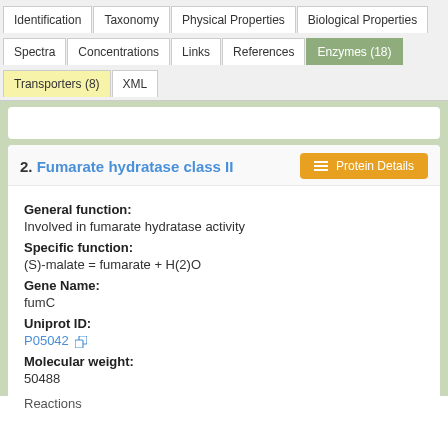[Figure (screenshot): Navigation tab bar with tabs: Identification, Taxonomy, Physical Properties, Biological Properties, Spectra, Concentrations, Links, References, Enzymes (18) [active/green], Transporters (8) [active/yellow], XML]
2. Fumarate hydratase class II
General function:
Involved in fumarate hydratase activity
Specific function:
(S)-malate = fumarate + H(2)O
Gene Name:
fumC
Uniprot ID:
P05042
Molecular weight:
50488
Reactions